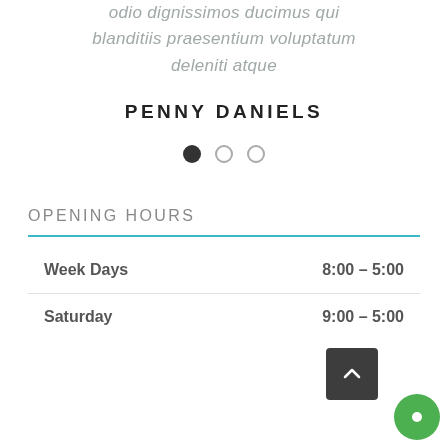odio dignissimos ducimus qui blanditiis praesentium voluptatum deleniti atque
PENNY DANIELS
[Figure (other): Three pagination dots: one filled black, two empty circles]
OPENING HOURS
|  |  |
| --- | --- |
| Week Days | 8:00 – 5:00 |
| Saturday | 9:00 – 5:00 |